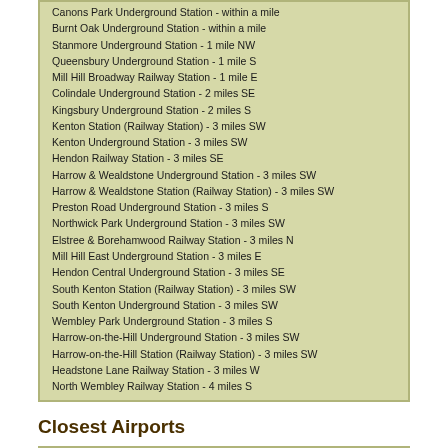Canons Park Underground Station - within a mile
Burnt Oak Underground Station - within a mile
Stanmore Underground Station - 1 mile NW
Queensbury Underground Station - 1 mile S
Mill Hill Broadway Railway Station - 1 mile E
Colindale Underground Station - 2 miles SE
Kingsbury Underground Station - 2 miles S
Kenton Station (Railway Station) - 3 miles SW
Kenton Underground Station - 3 miles SW
Hendon Railway Station - 3 miles SE
Harrow & Wealdstone Underground Station - 3 miles SW
Harrow & Wealdstone Station (Railway Station) - 3 miles SW
Preston Road Underground Station - 3 miles S
Northwick Park Underground Station - 3 miles SW
Elstree & Borehamwood Railway Station - 3 miles N
Mill Hill East Underground Station - 3 miles E
Hendon Central Underground Station - 3 miles SE
South Kenton Station (Railway Station) - 3 miles SW
South Kenton Underground Station - 3 miles SW
Wembley Park Underground Station - 3 miles S
Harrow-on-the-Hill Underground Station - 3 miles SW
Harrow-on-the-Hill Station (Railway Station) - 3 miles SW
Headstone Lane Railway Station - 3 miles W
North Wembley Railway Station - 4 miles S
Closest Airports
Northolt - 7 miles SW